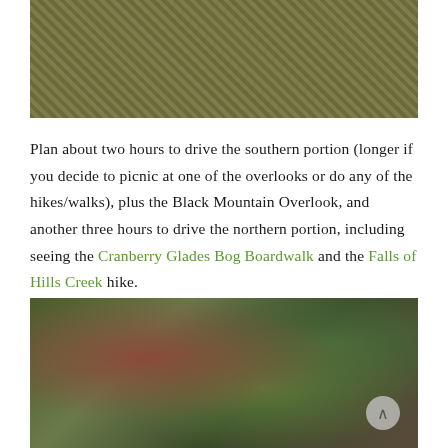[Figure (photo): Close-up photo of mossy, textured rocky surface with green moss and organic material, cropped at top of page]
Plan about two hours to drive the southern portion (longer if you decide to picnic at one of the overlooks or do any of the hikes/walks), plus the Black Mountain Overlook, and another three hours to drive the northern portion, including seeing the Cranberry Glades Bog Boardwalk and the Falls of Hills Creek hike.
[Figure (photo): Close-up photo of colorful, mossy rocks with green, pink and purple hues, possibly lichen-covered stones near a stream or bog]